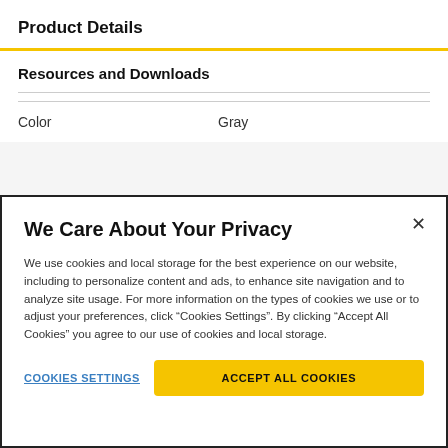Product Details
Resources and Downloads
Color    Gray
We Care About Your Privacy
We use cookies and local storage for the best experience on our website, including to personalize content and ads, to enhance site navigation and to analyze site usage. For more information on the types of cookies we use or to adjust your preferences, click “Cookies Settings”. By clicking “Accept All Cookies” you agree to our use of cookies and local storage.
COOKIES SETTINGS
ACCEPT ALL COOKIES